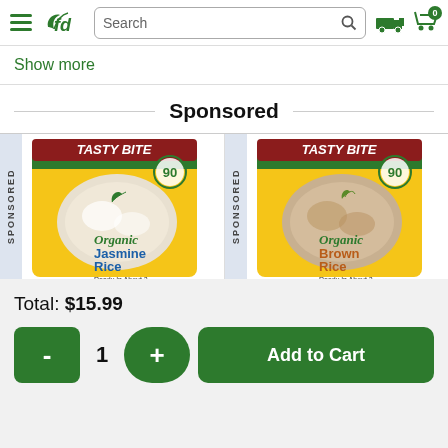fd Search | 0
Show more
Sponsored
[Figure (screenshot): Two sponsored product cards side by side: Tasty Bite Organic Jasmine Rice and Tasty Bite Organic Brown Rice, both in yellow packaging with green accents and '90' badge]
Total: $15.99
- 1 + Add to Cart